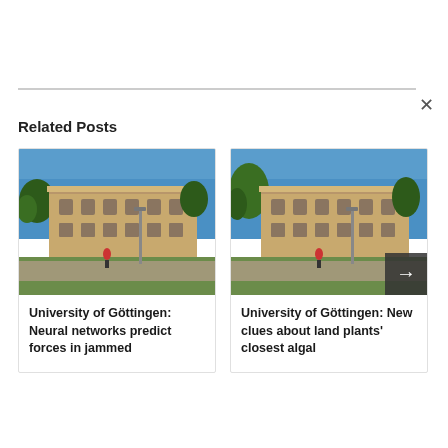Related Posts
[Figure (photo): University of Göttingen building exterior, classical architecture with blue sky]
University of Göttingen: Neural networks predict forces in jammed
[Figure (photo): University of Göttingen building exterior, classical architecture with blue sky, with navigation arrow overlay]
University of Göttingen: New clues about land plants' closest algal